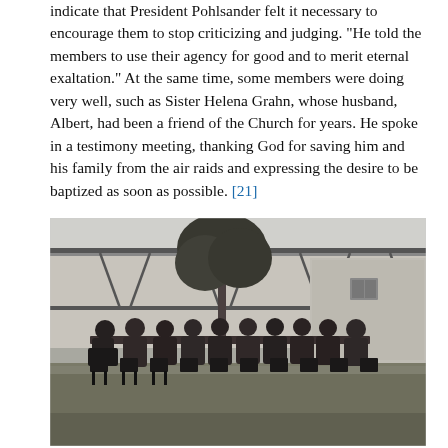indicate that President Pohlsander felt it necessary to encourage them to stop criticizing and judging. "He told the members to use their agency for good and to merit eternal exaltation." At the same time, some members were doing very well, such as Sister Helena Grahn, whose husband, Albert, had been a friend of the Church for years. He spoke in a testimony meeting, thanking God for saving him and his family from the air raids and expressing the desire to be baptized as soon as possible. [21]
[Figure (photo): Black and white photograph of a group of people seated around a long table outdoors on a grassy area, with trees and a half-timbered building in the background.]